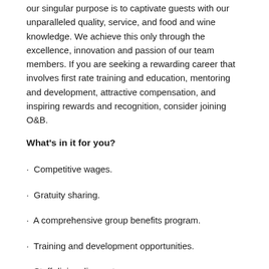our singular purpose is to captivate guests with our unparalleled quality, service, and food and wine knowledge. We achieve this only through the excellence, innovation and passion of our team members. If you are seeking a rewarding career that involves first rate training and education, mentoring and development, attractive compensation, and inspiring rewards and recognition, consider joining O&B.
What's in it for you?
· Competitive wages.
· Gratuity sharing.
· A comprehensive group benefits program.
· Training and development opportunities.
· Staff dining discount.
· Discounted ski pass.
· $1,500 per month signing bonus for the first 2 months of